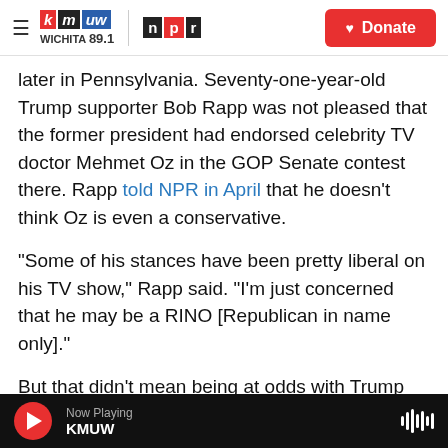KMUW Wichita 89.1 | NPR | Donate
later in Pennsylvania. Seventy-one-year-old Trump supporter Bob Rapp was not pleased that the former president had endorsed celebrity TV doctor Mehmet Oz in the GOP Senate contest there. Rapp told NPR in April that he doesn't think Oz is even a conservative.
"Some of his stances have been pretty liberal on his TV show," Rapp said. "I'm just concerned that he may be a RINO [Republican in name only]."
But that didn't mean being at odds with Trump over Oz had affected his strong admiration for the
Now Playing KMUW